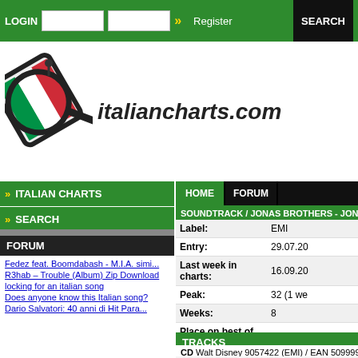LOGIN | Register | SEARCH
[Figure (logo): italiancharts.com logo with Italian flag-colored magnifying glass icon]
italiancharts.com
ITALIAN CHARTS
SEARCH
FORUM
Fedez feat. Boomdabash - M.I.A. simi...
R3hab – Trouble (Album) Zip Download
locking for an italian song
Does anyone know this Italian song?
Dario Salvatori: 40 anni di Hit Para...
HOME | FORUM
SOUNDTRACK / JONAS BROTHERS - JONAS L
| Field | Value |
| --- | --- |
| Label: | EMI |
| Entry: | 29.07.20 |
| Last week in charts: | 16.09.20 |
| Peak: | 32 (1 we |
| Weeks: | 8 |
| Place on best of all time: | 2758 (40 |
| Year: | 2010 |
| World wide: | fr Pe
nl Pe
be Pe
it Pe
es Pe
gr Pe
mx Pe |
TRACKS
CD Walt Disney 9057422 (EMI) / EAN 509999057422
1. Jonas Brothers - Feelin' Alive
2. Jonas Brothers - L.A. Baby (Where Dreams A